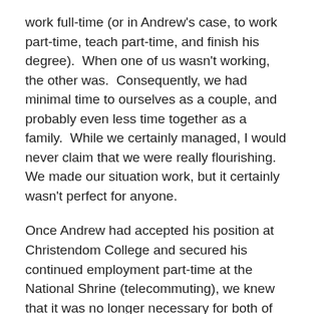work full-time (or in Andrew's case, to work part-time, teach part-time, and finish his degree).  When one of us wasn't working, the other was.  Consequently, we had minimal time to ourselves as a couple, and probably even less time together as a family.  While we certainly managed, I would never claim that we were really flourishing.  We made our situation work, but it certainly wasn't perfect for anyone.
Once Andrew had accepted his position at Christendom College and secured his continued employment part-time at the National Shrine (telecommuting), we knew that it was no longer necessary for both of us to work.  I did not need to find another job.  I was excited to begin my life as a stay-at-home mother, but it wasn't long before I began to sense that many people had very strong opinions about my decision.